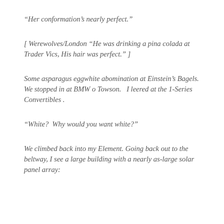“Her conformation’s nearly perfect.”
[ Werewolves/London “He was drinking a pina colada at Trader Vics, His hair was perfect.” ]
Some asparagus eggwhite abomination at Einstein’s Bagels.  We stopped in at BMW o Towson.   I leered at the 1-Series Convertibles .
“White?  Why would you want white?”
We climbed back into my Element. Going back out to the beltway, I see a large building with a nearly as-large solar panel array: